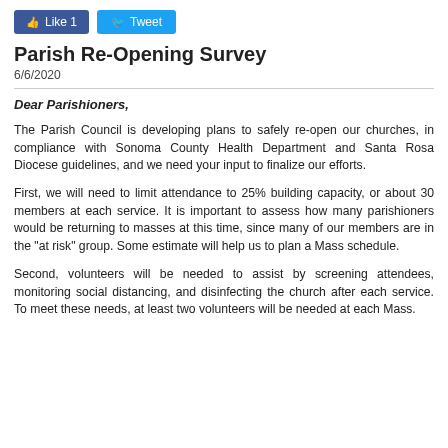[Figure (other): Social media buttons: Like 1 (Facebook) and Tweet (Twitter)]
Parish Re-Opening Survey
6/6/2020
Dear Parishioners,
The Parish Council is developing plans to safely re-open our churches, in compliance with Sonoma County Health Department and Santa Rosa Diocese guidelines, and we need your input to finalize our efforts.
First, we will need to limit attendance to 25% building capacity, or about 30 members at each service. It is important to assess how many parishioners would be returning to masses at this time, since many of our members are in the "at risk" group. Some estimate will help us to plan a Mass schedule.
Second, volunteers will be needed to assist by screening attendees, monitoring social distancing, and disinfecting the church after each service. To meet these needs, at least two volunteers will be needed at each Mass.